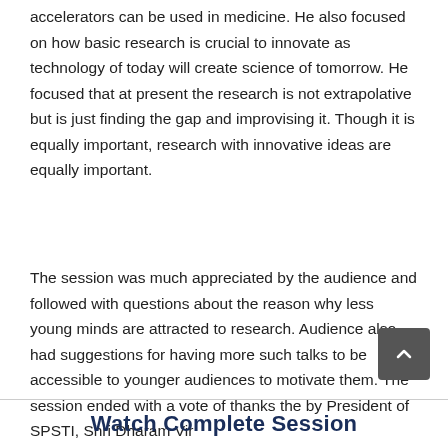accelerators can be used in medicine. He also focused on how basic research is crucial to innovate as technology of today will create science of tomorrow. He focused that at present the research is not extrapolative but is just finding the gap and improvising it. Though it is equally important, research with innovative ideas are equally important.
The session was much appreciated by the audience and followed with questions about the reason why less young minds are attracted to research. Audience also had suggestions for having more such talks to be accessible to younger audiences to motivate them. The session ended with a vote of thanks the by President of SPSTI, Shri Dharam Vir
Watch Complete Session